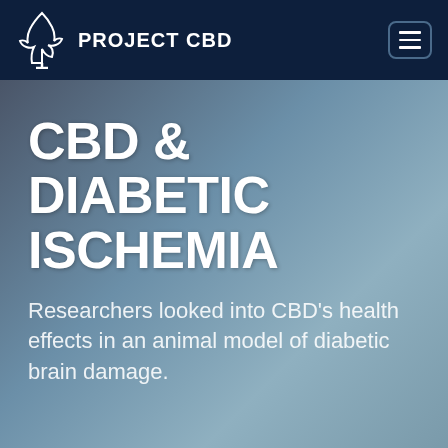PROJECT CBD
CBD & DIABETIC ISCHEMIA
Researchers looked into CBD's health effects in an animal model of diabetic brain damage.